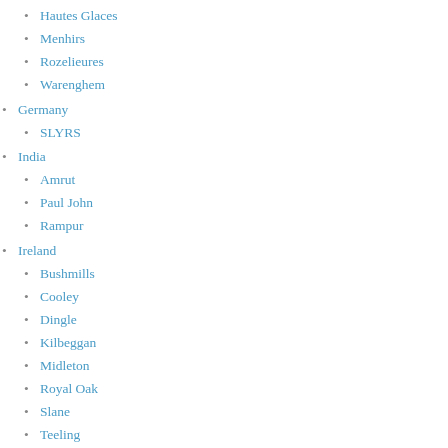Glann Ar Mor
Hautes Glaces
Menhirs
Rozelieures
Warenghem
Germany
SLYRS
India
Amrut
Paul John
Rampur
Ireland
Bushmills
Cooley
Dingle
Kilbeggan
Midleton
Royal Oak
Slane
Teeling
Walsh Whiskey
Waterford
West Cork
Israel
Milk & Honey
Japan
Chichibu